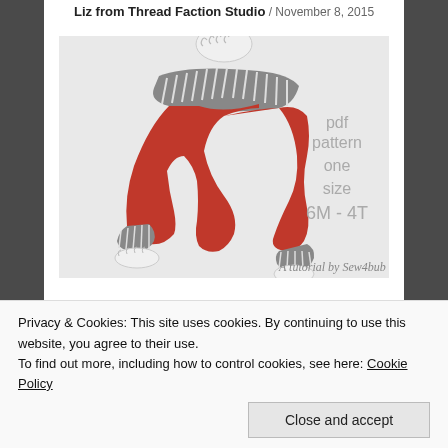Liz from Thread Faction Studio / November 8, 2015
[Figure (illustration): Illustration of a child wearing rust-red harem/yoga pants with striped waistband and cuffs. Text overlay reads 'pdf pattern one size 6M - 4T'. Bottom text reads 'A tutorial by Sew4bub'.]
Privacy & Cookies: This site uses cookies. By continuing to use this website, you agree to their use.
To find out more, including how to control cookies, see here: Cookie Policy
Close and accept